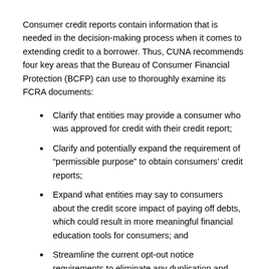Consumer credit reports contain information that is needed in the decision-making process when it comes to extending credit to a borrower. Thus, CUNA recommends four key areas that the Bureau of Consumer Financial Protection (BCFP) can use to thoroughly examine its FCRA documents:
Clarify that entities may provide a consumer who was approved for credit with their credit report;
Clarify and potentially expand the requirement of “permissible purpose” to obtain consumers’ credit reports;
Expand what entities may say to consumers about the credit score impact of paying off debts, which could result in more meaningful financial education tools for consumers; and
Streamline the current opt-out notice requirements to eliminate any duplication and reduce the potential of redundant notices.
###
About CUNA